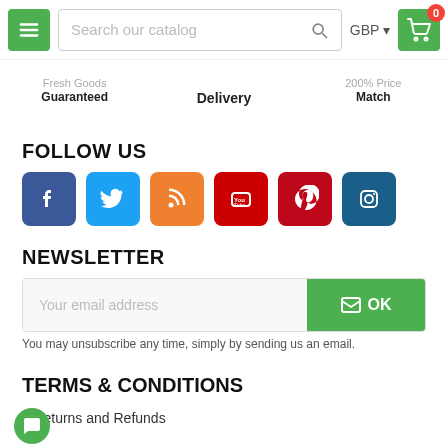[Figure (screenshot): Website header with green hamburger menu button, search bar reading 'Search our catalog', GBP currency selector, and green shopping cart icon with red badge showing '0']
Fresh Goods Guaranteed   Delivery   200% Price Match
FOLLOW US
[Figure (infographic): Six social media icon buttons: Facebook (blue), Twitter (light blue), RSS (orange), YouTube (dark red), Pinterest (red), Instagram (dark blue)]
NEWSLETTER
[Figure (screenshot): Email input field with placeholder 'Your email address' and green OK button with envelope icon]
You may unsubscribe any time, simply by sending us an email.
TERMS & CONDITIONS
Returns and Refunds